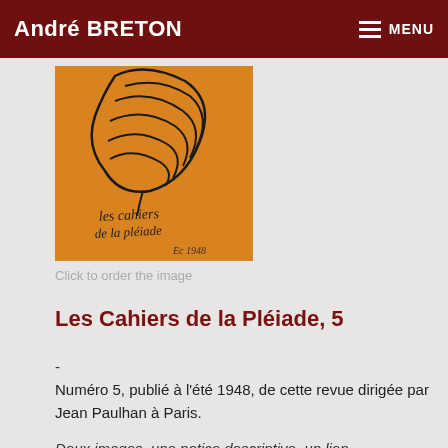André BRETON  MENU
[Figure (illustration): Orange book cover of Les Cahiers de la Pléiade with handwritten text and abstract linear drawing]
Click to order the image
Les Cahiers de la Pléiade, 5
-
Numéro 5, publié à l'été 1948, de cette revue dirigée par Jean Paulhan à Paris.
Deux images, une notice descriptive, un lien.
[Revue] Les Cahiers de la Pléiade